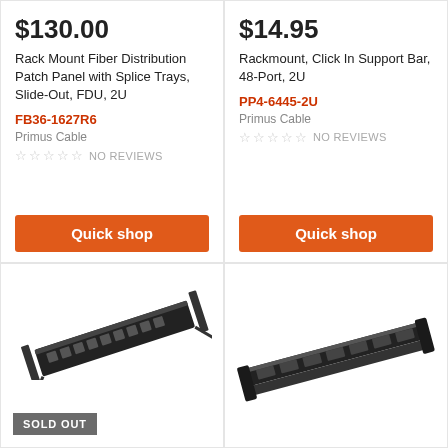$130.00
Rack Mount Fiber Distribution Patch Panel with Splice Trays, Slide-Out, FDU, 2U
FB36-1627R6
Primus Cable
NO REVIEWS
Quick shop
$14.95
Rackmount, Click In Support Bar, 48-Port, 2U
PP4-6445-2U
Primus Cable
NO REVIEWS
Quick shop
[Figure (photo): Rack mount fiber patch panel product image, black hardware, angled view showing ports]
SOLD OUT
[Figure (photo): Rackmount click-in support bar product image, black metal rail, angled view]